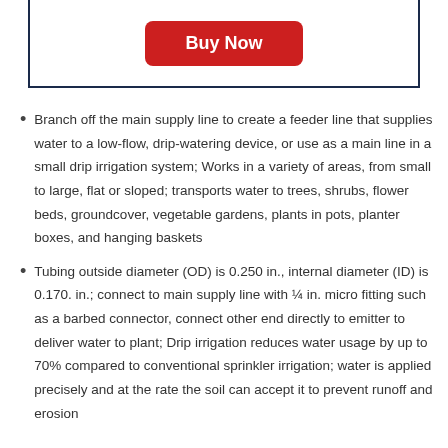[Figure (other): Buy Now button in a dark navy bordered box]
Branch off the main supply line to create a feeder line that supplies water to a low-flow, drip-watering device, or use as a main line in a small drip irrigation system; Works in a variety of areas, from small to large, flat or sloped; transports water to trees, shrubs, flower beds, groundcover, vegetable gardens, plants in pots, planter boxes, and hanging baskets
Tubing outside diameter (OD) is 0.250 in., internal diameter (ID) is 0.170. in.; connect to main supply line with ¼ in. micro fitting such as a barbed connector, connect other end directly to emitter to deliver water to plant; Drip irrigation reduces water usage by up to 70% compared to conventional sprinkler irrigation; water is applied precisely and at the rate the soil can accept it to prevent runoff and erosion